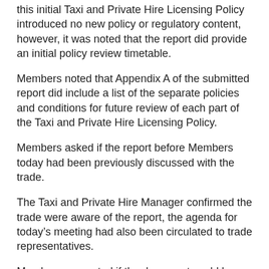this initial Taxi and Private Hire Licensing Policy introduced no new policy or regulatory content, however, it was noted that the report did provide an initial policy review timetable.
Members noted that Appendix A of the submitted report did include a list of the separate policies and conditions for future review of each part of the Taxi and Private Hire Licensing Policy.
Members asked if the report before Members today had been previously discussed with the trade.
The Taxi and Private Hire Manager confirmed the trade were aware of the report, the agenda for today’s meeting had also been circulated to trade representatives.
Members requested if the document could be re-checked to ensure it was in Plain English and any “clunky wording” had been replaced/ removed.